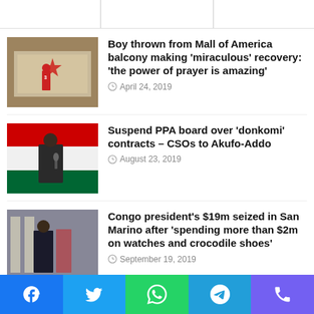Boy thrown from Mall of America balcony making 'miraculous' recovery: 'the power of prayer is amazing'
April 24, 2019
Suspend PPA board over 'donkomi' contracts – CSOs to Akufo-Addo
August 23, 2019
Congo president's $19m seized in San Marino after 'spending more than $2m on watches and crocodile shoes'
September 19, 2019
eath of Jeremy Camp's first wife continues to impact millions: 'Can't believe God is still using this'